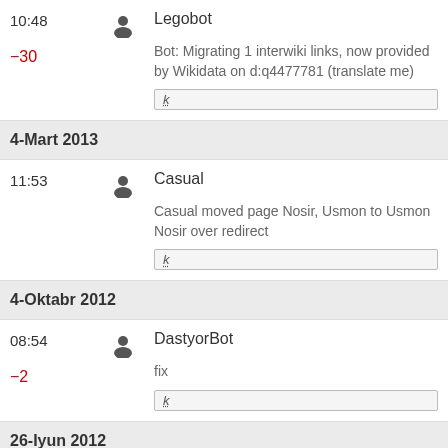10:48  Legobot
−30
Bot: Migrating 1 interwiki links, now provided by Wikidata on d:q4477781 (translate me)
k
4-Mart 2013
11:53  Casual
Casual moved page Nosir, Usmon to Usmon Nosir over redirect
k
4-Oktabr 2012
08:54  DastyorBot
−2
fix
k
26-Iyun 2012